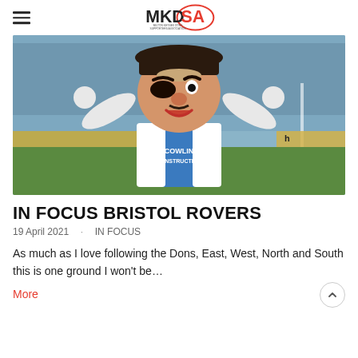MKDSA
[Figure (photo): Bristol Rovers mascot in blue and white striped shirt with 'Cowlin Construction' sponsor text, arms raised in celebration, with crowd in background]
IN FOCUS BRISTOL ROVERS
19 April 2021  ·  IN FOCUS
As much as I love following the Dons, East, West, North and South this is one ground I won't be…
More